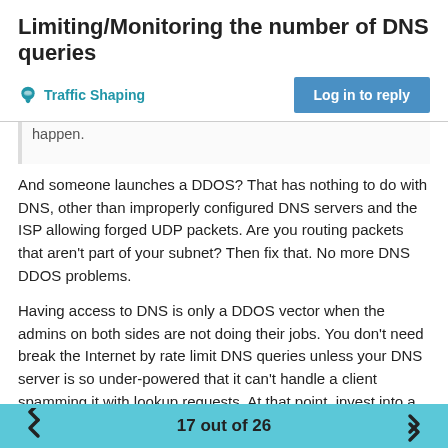Limiting/Monitoring the number of DNS queries
Traffic Shaping
Log in to reply
happen.
And someone launches a DDOS? That has nothing to do with DNS, other than improperly configured DNS servers and the ISP allowing forged UDP packets. Are you routing packets that aren't part of your subnet? Then fix that. No more DNS DDOS problems.
Having access to DNS is only a DDOS vector when the admins on both sides are not doing their jobs. You don't need break the Internet by rate limit DNS queries unless your DNS server is so under-powered that it can't handle a client spamming it with lookup requests. At that point, invest into a $25 Raspberry Pi for a DNS caching server.
Sorry for being so negative, but DDOS via DNS is not a complicated issue and doesn't require draconian rules. The issue isn't technical, it's political, and I hate those kinds of problems
17 out of 26